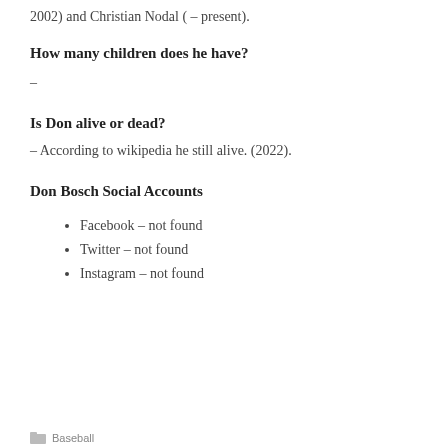2002) and Christian Nodal ( – present).
How many children does he have?
–
Is Don alive or dead?
– According to wikipedia he still alive. (2022).
Don Bosch Social Accounts
Facebook – not found
Twitter – not found
Instagram – not found
Baseball